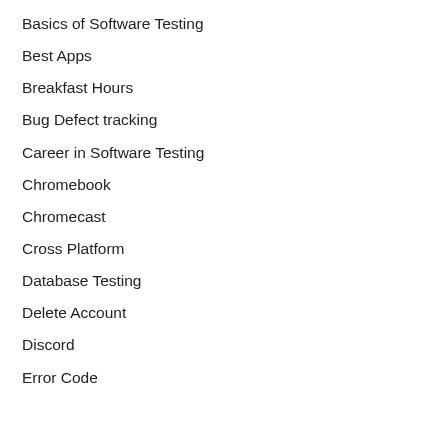Basics of Software Testing
Best Apps
Breakfast Hours
Bug Defect tracking
Career in Software Testing
Chromebook
Chromecast
Cross Platform
Database Testing
Delete Account
Discord
Error Code